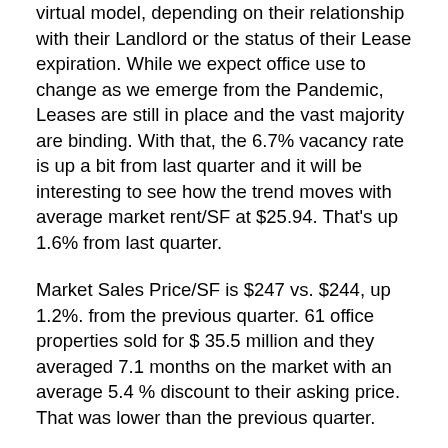virtual model, depending on their relationship with their Landlord or the status of their Lease expiration. While we expect office use to change as we emerge from the Pandemic, Leases are still in place and the vast majority are binding. With that, the 6.7% vacancy rate is up a bit from last quarter and it will be interesting to see how the trend moves with average market rent/SF at $25.94. That's up 1.6% from last quarter.
Market Sales Price/SF is $247 vs. $244, up 1.2%. from the previous quarter. 61 office properties sold for $ 35.5 million and they averaged 7.1 months on the market with an average 5.4 % discount to their asking price. That was lower than the previous quarter.
There are currently 9 office buildings FOR SALE